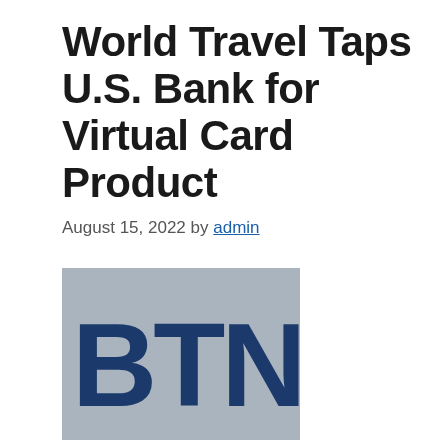World Travel Taps U.S. Bank for Virtual Card Product
August 15, 2022 by admin
[Figure (logo): BTN (Business Travel News) logo — dark navy bold letters BTN on a light steel-blue/grey rectangular background]